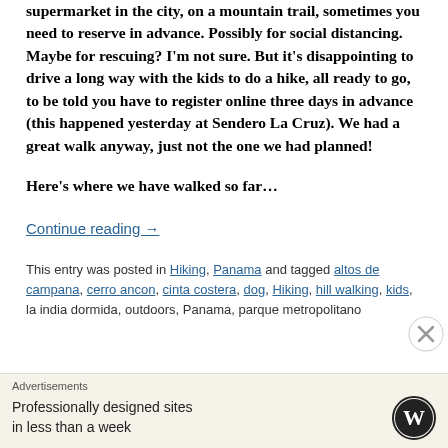supermarket in the city, on a mountain trail, sometimes you need to reserve in advance. Possibly for social distancing. Maybe for rescuing? I'm not sure. But it's disappointing to drive a long way with the kids to do a hike, all ready to go, to be told you have to register online three days in advance (this happened yesterday at Sendero La Cruz). We had a great walk anyway, just not the one we had planned!
Here's where we have walked so far...
Continue reading →
This entry was posted in Hiking, Panama and tagged altos de campana, cerro ancon, cinta costera, dog, Hiking, hill walking, kids, la india dormida, outdoors, Panama, parque metropolitano
Advertisements
Professionally designed sites in less than a week